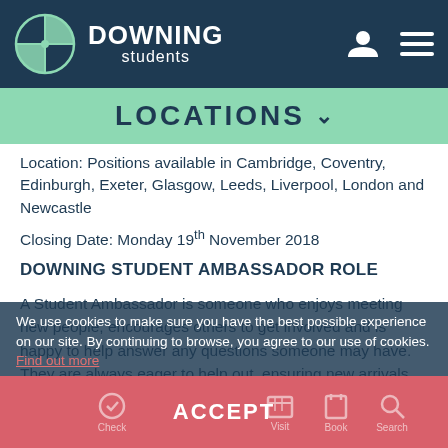[Figure (logo): Downing Students logo with circular crosshair icon and navigation icons (user profile and hamburger menu)]
LOCATIONS
Location: Positions available in Cambridge, Coventry, Edinburgh, Exeter, Glasgow, Leeds, Liverpool, London and Newcastle
Closing Date: Monday 19th November 2018
DOWNING STUDENT AMBASSADOR ROLE
A Student Ambassador is someone who enjoys meeting new people, encourages others to get involved and is happy to help answer any questions someone may have. They are always eager to help out, ensuring new arrivals settle in and make the most out of their time while at
We use cookies to make sure you have the best possible experience on our site. By continuing to browse, you agree to our use of cookies. Find out more
ACCEPT